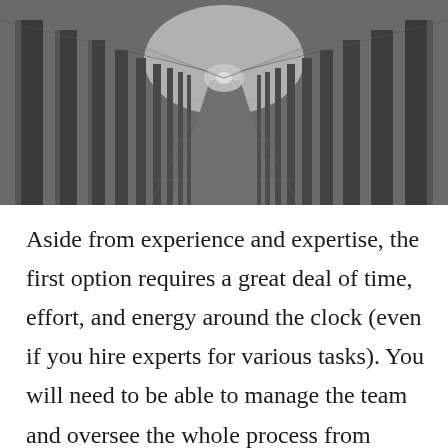[Figure (photo): Black and white photograph of a long corridor with tall columns receding into the distance, creating a symmetrical vanishing point perspective.]
Aside from experience and expertise, the first option requires a great deal of time, effort, and energy around the clock (even if you hire experts for various tasks). You will need to be able to manage the team and oversee the whole process from beginning to end. This includes finding and locating the perfect property, attracting investors into a pool, employing an experienced labor force, planning and implementing a marketing strategy to